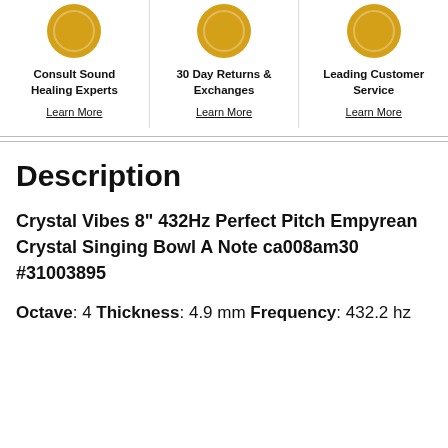[Figure (infographic): Three gold circular badge icons in a row above feature descriptions]
Consult Sound Healing Experts
Learn More
30 Day Returns & Exchanges
Learn More
Leading Customer Service
Learn More
Description
Crystal Vibes 8" 432Hz Perfect Pitch Empyrean Crystal Singing Bowl A Note ca008am30 #31003895
Octave: 4  Thickness: 4.9 mm  Frequency: 432.2 hz